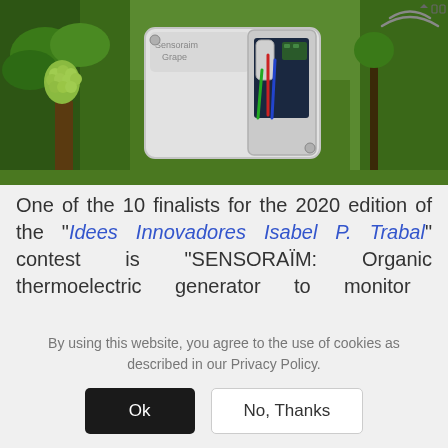[Figure (photo): Photo of a white electronic sensor box labeled 'Sensoraim Grape' open to show internal circuitry with red, green, and blue wires, mounted in a vineyard with green grapevines and grapes visible in the background. WiFi signal arcs shown top-right.]
One of the 10 finalists for the 2020 edition of the "Idees Innovadores Isabel P. Trabal" contest is "SENSORAÏM: Organic thermoelectric generator to monitor
By using this website, you agree to the use of cookies as described in our Privacy Policy.